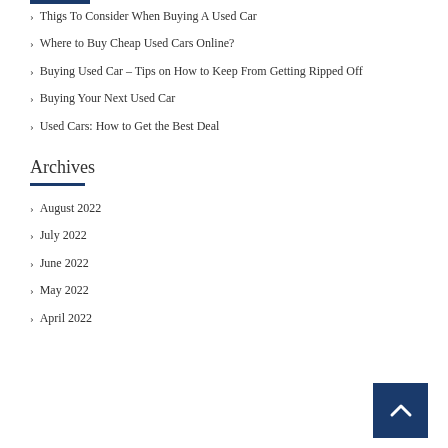Thigs To Consider When Buying A Used Car
Where to Buy Cheap Used Cars Online?
Buying Used Car – Tips on How to Keep From Getting Ripped Off
Buying Your Next Used Car
Used Cars: How to Get the Best Deal
Archives
August 2022
July 2022
June 2022
May 2022
April 2022